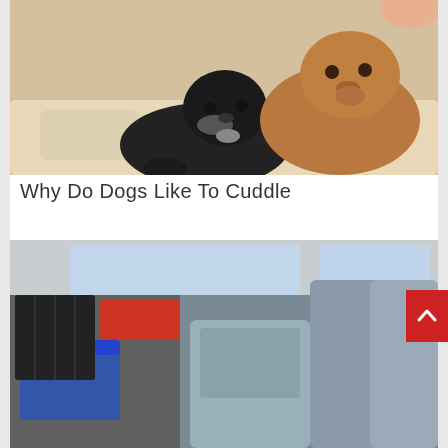[Figure (photo): Two small puppies cuddling together on a cream-colored fluffy blanket. One puppy is black and the other is brown/tan.]
Why Do Dogs Like To Cuddle
[Figure (photo): A dark brindle boxer dog peering over the back seat of a car, with car seats and luggage visible in the background.]